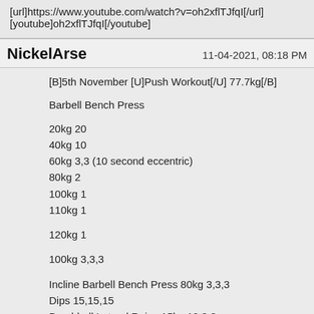[url]https://www.youtube.com/watch?v=oh2xflTJfqI[/url]
[youtube]oh2xflTJfqI[/youtube]
NickelArse
11-04-2021, 08:18 PM
[B]5th November [U]Push Workout[/U] 77.7kg[/B]
Barbell Bench Press
20kg 20
40kg 10
60kg 3,3 (10 second eccentric)
80kg 2
100kg 1
110kg 1
120kg 1
100kg 3,3,3
Incline Barbell Bench Press 80kg 3,3,3
Dips 15,15,15
Dumbbell Lateral Raise 15kg 10,8,8
Dumbbell Pec Fly 15kg 10,8,8
Seated Dumbbell Press 22.5kg 6,6,6
Cable Chest Press 70kg 8 50kg 6 30kg 10 (drop set)